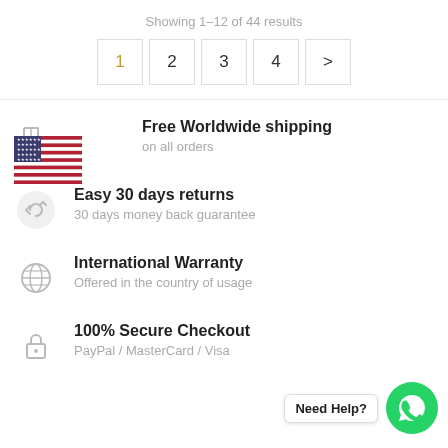Showing 1–12 of 44 results
1 2 3 4 >
Free Worldwide shipping
on all orders
Easy 30 days returns
30 days money back guarantee
International Warranty
Offered in the country of usage
100% Secure Checkout
PayPal / MasterCard / Visa
Need Help?